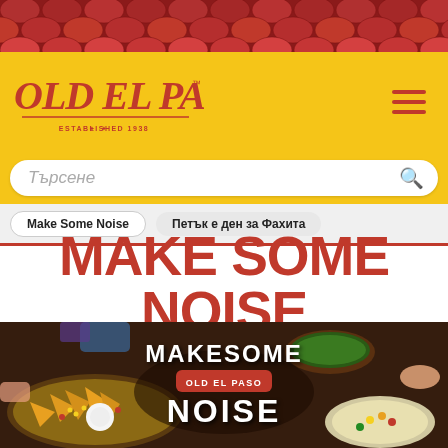[Figure (illustration): Red roof tiles decorative header]
[Figure (logo): Old El Paso logo on yellow background with hamburger menu icon]
[Figure (screenshot): Search bar with Cyrillic placeholder text 'Търсене' and search icon]
Make Some Noise | Петък е ден за Фахита
MAKE SOME NOiSE
[Figure (photo): Overhead photo of people sharing Mexican food dishes including nachos, tacos, guacamole. Overlay text reads 'MAKE SOME NOISE' with Old El Paso logo badge.]